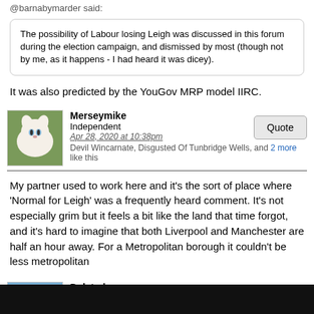@barnabymarder said:
The possibility of Labour losing Leigh was discussed in this forum during the election campaign, and dismissed by most (though not by me, as it happens - I had heard it was dicey).
It was also predicted by the YouGov MRP model IIRC.
Merseymike
Independent
Apr 28, 2020 at 10:38pm
Devil Wincarnate, Disgusted Of Tunbridge Wells, and 2 more like this
My partner used to work here and it's the sort of place where 'Normal for Leigh' was a frequently heard comment. It's not especially grim but it feels a bit like the land that time forgot, and it's hard to imagine that both Liverpool and Manchester are half an hour away. For a Metropolitan borough it couldn't be less metropolitan
Deleted
Apr 28, 2020 at 10:47pm
Merseymike likes this